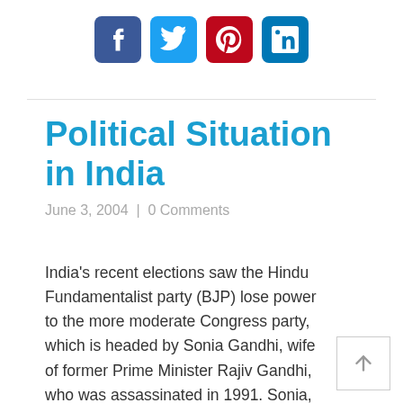[Figure (other): Social media share icons: Facebook (blue), Twitter (blue), Pinterest (red), LinkedIn (blue)]
Political Situation in India
June 3, 2004  |  0 Comments
India’s recent elections saw the Hindu Fundamentalist party (BJP) lose power to the more moderate Congress party, which is headed by Sonia Gandhi, wife of former Prime Minister Rajiv Gandhi, who was assassinated in 1991. Sonia, despite controversy over the fact